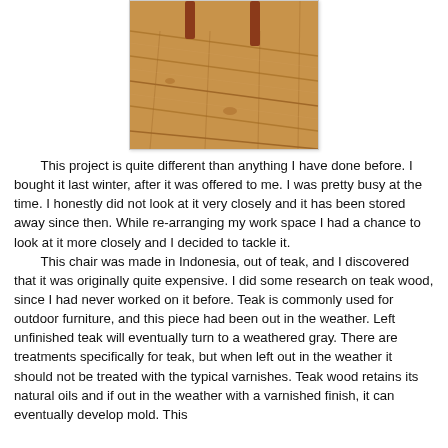[Figure (photo): Photo of a wooden chair with teak wood plank floor visible, warm orange-brown tones, chair legs visible at top of image]
This project is quite different than anything I have done before.  I bought it last winter, after it was offered to me.  I was pretty busy at the time.  I honestly did not look at it very closely and it has been stored away since then.  While re-arranging my work space I had a chance to look at it more closely and I decided to tackle it.
This chair was made in Indonesia, out of teak, and I discovered that it was originally quite expensive.  I did some research on teak wood, since I had never worked on it before.  Teak is commonly used for outdoor furniture, and this piece had been out in the weather.  Left unfinished teak will eventually turn to a weathered gray.  There are treatments specifically for teak, but when left out in the weather it should not be treated with the typical varnishes.  Teak wood retains its natural oils and if out in the weather with a varnished finish, it can eventually develop mold.  This